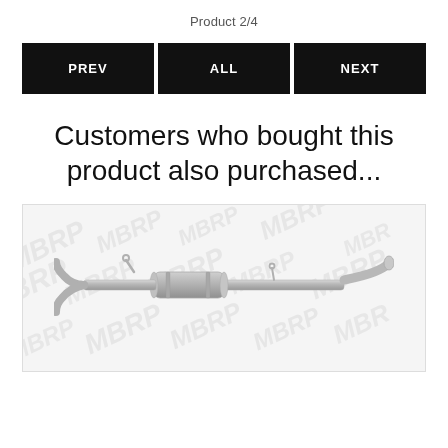Product 2/4
PREV  ALL  NEXT
Customers who bought this product also purchased...
[Figure (photo): Product photo of a car exhaust system/muffler on a light gray background with MBRP watermark text pattern repeated across the image.]